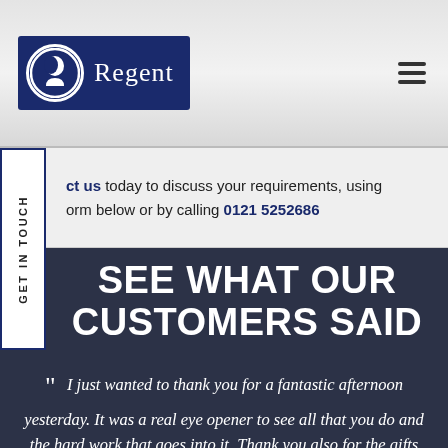[Figure (logo): Regent logo: dark navy blue rectangle with circular portrait icon and 'Regent' text in white serif font]
Contact us today to discuss your requirements, using the form below or by calling 0121 5252686
GET IN TOUCH
SEE WHAT OUR CUSTOMERS SAID
" I just wanted to thank you for a fantastic afternoon yesterday. It was a real eye opener to see all that you do and the hard work that goes into it. Thank you also for the gifts and